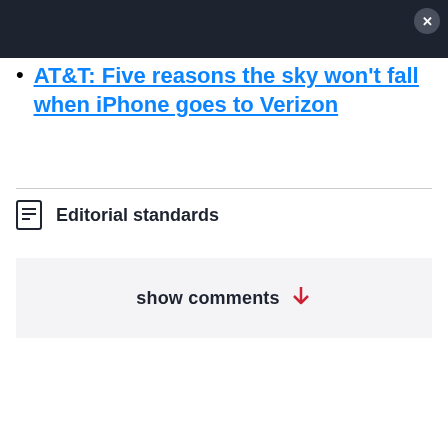AT&T: Five reasons the sky won't fall when iPhone goes to Verizon
Editorial standards
show comments ↓